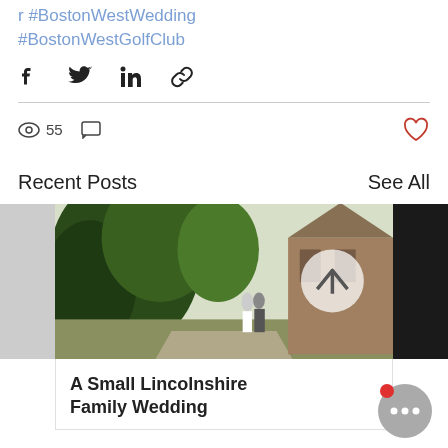r #BostonWestWedding #BostonWestGolfClub
[Figure (screenshot): Social share icons: Facebook, Twitter, LinkedIn, link]
55 views, 0 comments, like button
Recent Posts
See All
[Figure (photo): Wedding couple walking path near a church with large trees, Lincolnshire]
A Small Lincolnshire Family Wedding